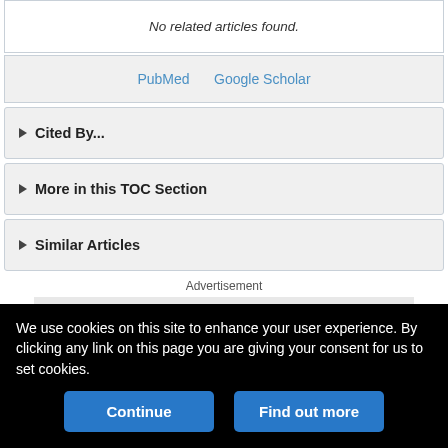No related articles found.
PubMed   Google Scholar
Cited By...
More in this TOC Section
Similar Articles
Advertisement
[Figure (other): Advertisement banner: BRING THE FUTURE OF MRI INTO FOCUS, Guerbet logo with colored grid icon]
We use cookies on this site to enhance your user experience. By clicking any link on this page you are giving your consent for us to set cookies.
Continue   Find out more